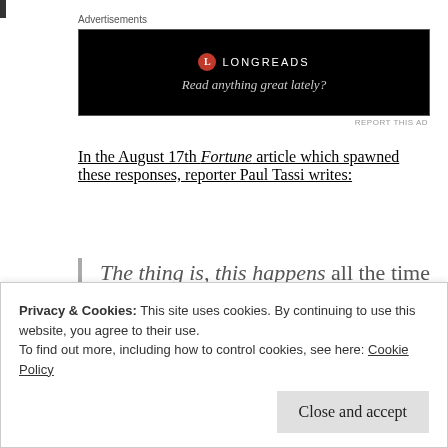[Figure (other): Longreads advertisement banner with black background, red circle logo with 'L', brand name 'LONGREADS', and tagline 'Read anything great lately?']
In the August 17th Fortune article which spawned these responses, reporter Paul Tassi writes:
The thing is, this happens all the time with Zuckerberg and his metaverse because Horizon Worlds has looked
Privacy & Cookies: This site uses cookies. By continuing to use this website, you agree to their use.
To find out more, including how to control cookies, see here: Cookie Policy